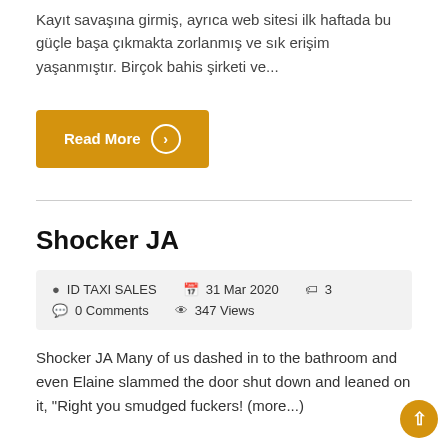Kayıt savaşına girmiş, ayrıca web sitesi ilk haftada bu güçle başa çıkmakta zorlanmış ve sık erişim yaşanmıştır. Birçok bahis şirketi ve...
Read More
Shocker JA
ID TAXI SALES   31 Mar 2020   3   0 Comments   347 Views
Shocker JA Many of us dashed in to the bathroom and even Elaine slammed the door shut down and leaned on it, "Right you smudged fuckers! (more...)